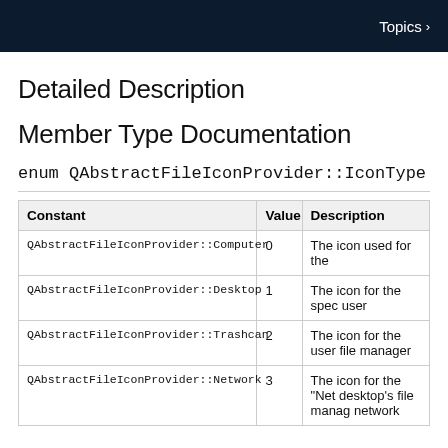Topics >
Detailed Description
Member Type Documentation
enum QAbstractFileIconProvider::IconType
| Constant | Value | Description |
| --- | --- | --- |
| QAbstractFileIconProvider::Computer | 0 | The icon used for the |
| QAbstractFileIconProvider::Desktop | 1 | The icon for the spec user |
| QAbstractFileIconProvider::Trashcan | 2 | The icon for the user file manager |
| QAbstractFileIconProvider::Network | 3 | The icon for the "Net desktop's file manager network |